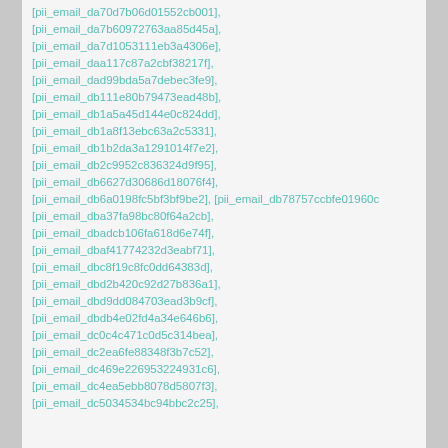[pii_email_da70d7b06d01552cb001],
[pii_email_da7b60972763aa85d45a],
[pii_email_da7d1053111eb3a4306e],
[pii_email_daa117c87a2cbf38217f],
[pii_email_dad99bda5a7debec3fe9],
[pii_email_db111e80b79473ead48b],
[pii_email_db1a5a45d144e0c824dd],
[pii_email_db1a8f13ebc63a2c5331],
[pii_email_db1b2da3a1291014f7e2],
[pii_email_db2c9952c836324d9f95],
[pii_email_db6627d30686d18076f4],
[pii_email_db6a0198fc5bf3bf9be2], [pii_email_db78757ccbfe01960c
[pii_email_dba37fa98bc80f64a2cb],
[pii_email_dbadcb106fa618d6e74f],
[pii_email_dbaf41774232d3eabf71],
[pii_email_dbc8f19c8fc0dd64383d],
[pii_email_dbd2b420c92d27b836a1],
[pii_email_dbd9dd084703ead3b9cf],
[pii_email_dbdb4e02fd4a34e646b6],
[pii_email_dc0c4c471c0d5c314bea],
[pii_email_dc2ea6fe88348f3b7c52],
[pii_email_dc469e226953224931c6],
[pii_email_dc4ea5ebb8078d5807f3],
[pii_email_dc5034534bc94bbc2c25],